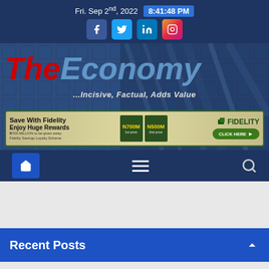Fri. Sep 2nd, 2022  8:41:48 PM
[Figure (screenshot): The Economy newspaper website header with logo showing 'The Economy ...Incisive, Factual, Adds Value' over a building background, with a Fidelity Bank advertisement banner below]
[Figure (screenshot): Navigation bar with home icon, hamburger menu, and search icon on dark blue background]
Recent Posts